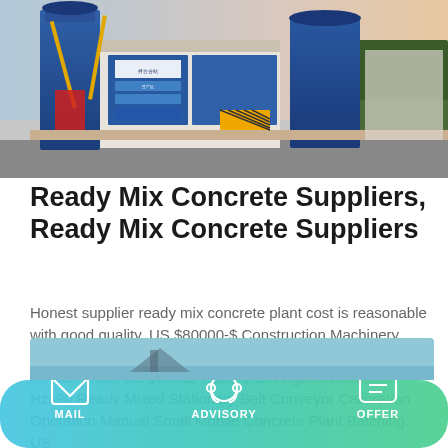[Figure (photo): Industrial ready mix concrete batching plant with blue silos, conveyor belts, and Chinese text signage on the facility walls.]
Ready Mix Concrete Suppliers, Ready Mix Concrete Suppliers
Honest supplier ready mix concrete plant cost is reasonable with good quality. US $80000-$ Construction Machinery Modular Ready Mixed Plant HZS75 concrete batching plant for Sell Price. US $60612 / Set. 1 Set Uganda Supplier Hzs90 Ready Mixed Stationary Belt Conveyor Calibration Operation Manual Small Mobile Concrete Plant Batching. US
[Figure (photo): Partial view of another industrial concrete plant facility with blue/teal tones.]
MAIL   ADVISORY   OFFER